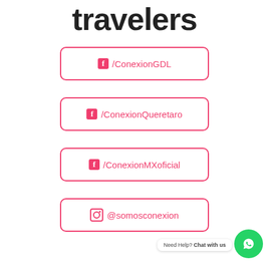travelers
f /ConexionGDL
f /ConexionQueretaro
f /ConexionMXoficial
@somosconexion
Need Help? Chat with us